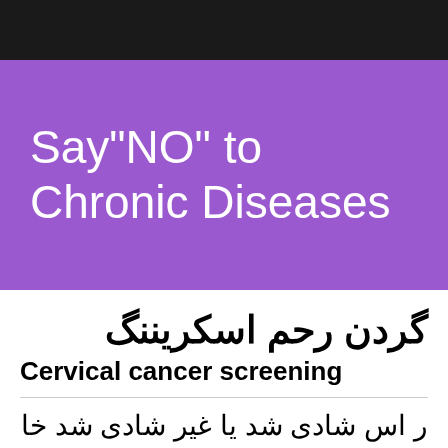[Figure (illustration): Black header bar at top of page]
Say"NO" to Chronic Diseases
گردن رحم اسکریننگ
Cervical cancer screening
‎ر اس شادی شد‎ یا غیر شادی شد‎ خا تون